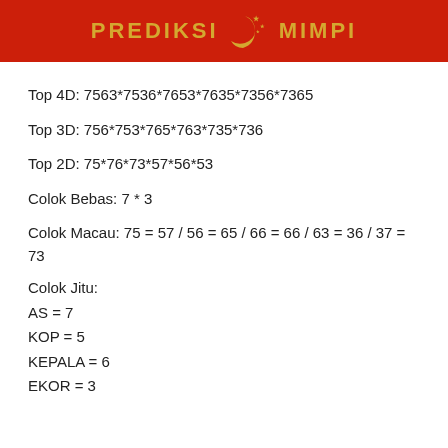PREDIKSI MIMPI
Top 4D: 7563*7536*7653*7635*7356*7365
Top 3D: 756*753*765*763*735*736
Top 2D: 75*76*73*57*56*53
Colok Bebas: 7 * 3
Colok Macau: 75 = 57 / 56 = 65 / 66 = 66 / 63 = 36 / 37 = 73
Colok Jitu:
AS = 7
KOP = 5
KEPALA = 6
EKOR = 3